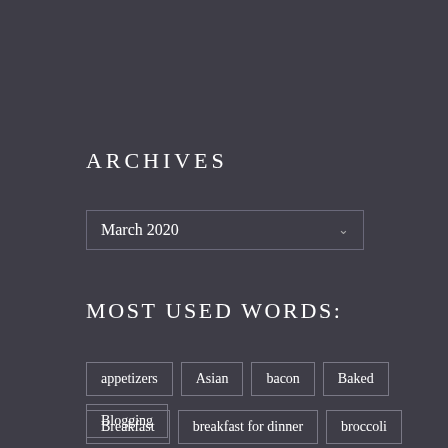ARCHIVES
March 2020
MOST USED WORDS:
appetizers
Asian
bacon
Baked
Blogging
Breakfast
breakfast for dinner
broccoli